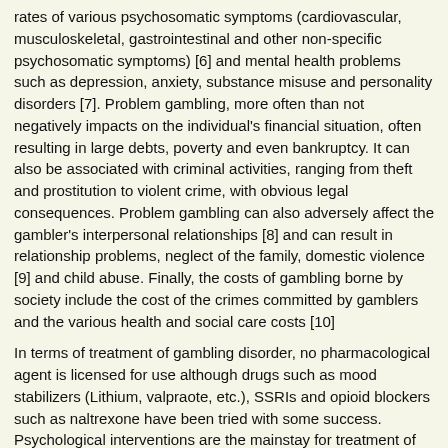rates of various psychosomatic symptoms (cardiovascular, musculoskeletal, gastrointestinal and other non-specific psychosomatic symptoms) [6] and mental health problems such as depression, anxiety, substance misuse and personality disorders [7]. Problem gambling, more often than not negatively impacts on the individual's financial situation, often resulting in large debts, poverty and even bankruptcy. It can also be associated with criminal activities, ranging from theft and prostitution to violent crime, with obvious legal consequences. Problem gambling can also adversely affect the gambler's interpersonal relationships [8] and can result in relationship problems, neglect of the family, domestic violence [9] and child abuse. Finally, the costs of gambling borne by society include the cost of the crimes committed by gamblers and the various health and social care costs [10]
In terms of treatment of gambling disorder, no pharmacological agent is licensed for use although drugs such as mood stabilizers (Lithium, valpraote, etc.), SSRIs and opioid blockers such as naltrexone have been tried with some success. Psychological interventions are the mainstay for treatment of gambling disorder: Gamblers Anonymous is one such peer support group offering intervention, which is free and easily available across the world. In this editorial, we present an overview of the Gamblers Anonymous fellowship
WHAT IS GAMBLERS ANONYMOUS?
Gamblers Anonymous (GA) is 'a fellowship of men and women who share their experience, strength and hope with each other that they may solve their common problem and help others to recover from a gambling problem' [11]. GA adopts a